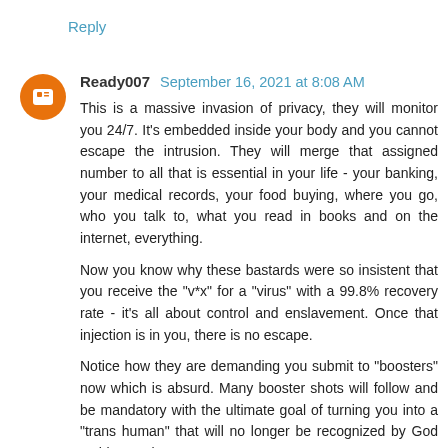Reply
Ready007  September 16, 2021 at 8:08 AM
This is a massive invasion of privacy, they will monitor you 24/7. It's embedded inside your body and you cannot escape the intrusion. They will merge that assigned number to all that is essential in your life - your banking, your medical records, your food buying, where you go, who you talk to, what you read in books and on the internet, everything.
Now you know why these bastards were so insistent that you receive the "v*x" for a "virus" with a 99.8% recovery rate - it's all about control and enslavement. Once that injection is in you, there is no escape.
Notice how they are demanding you submit to "boosters" now which is absurd. Many booster shots will follow and be mandatory with the ultimate goal of turning you into a "trans human" that will no longer be recognized by God as his creation.